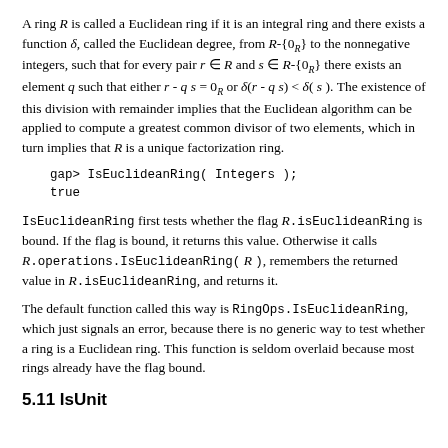A ring R is called a Euclidean ring if it is an integral ring and there exists a function δ, called the Euclidean degree, from R-{0_R} to the nonnegative integers, such that for every pair r ∈ R and s ∈ R-{0_R} there exists an element q such that either r - q s = 0_R or δ(r - q s) < δ( s ). The existence of this division with remainder implies that the Euclidean algorithm can be applied to compute a greatest common divisor of two elements, which in turn implies that R is a unique factorization ring.
gap> IsEuclideanRing( Integers );
true
IsEuclideanRing first tests whether the flag R.isEuclideanRing is bound. If the flag is bound, it returns this value. Otherwise it calls R.operations.IsEuclideanRing( R ), remembers the returned value in R.isEuclideanRing, and returns it.
The default function called this way is RingOps.IsEuclideanRing, which just signals an error, because there is no generic way to test whether a ring is a Euclidean ring. This function is seldom overlaid because most rings already have the flag bound.
5.11 IsUnit